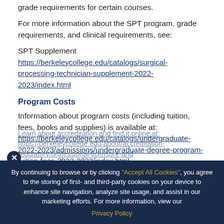grade requirements for certain courses.
For more information about the SPT program, grade requirements, and clinical requirements, see:
SPT Supplement
https://berkeleycollege.edu/catalogs/surgical-processing-technician-supplement-2022-2023/index.html
Program Costs
Information about program costs (including tuition, fees, books and supplies) is available at: https://berkeleycollege.edu/catalogs/undergraduate-2022-2023/admissions/undergraduate-degree-program-tuition-fees-2022-2023/index.html
By continuing to browse or by clicking "Accept All Cookies", you agree to the storing of first- and third-party cookies on your device to enhance site navigation, analyze site usage, and assist in our marketing efforts. For more information, view our Privacy Policy